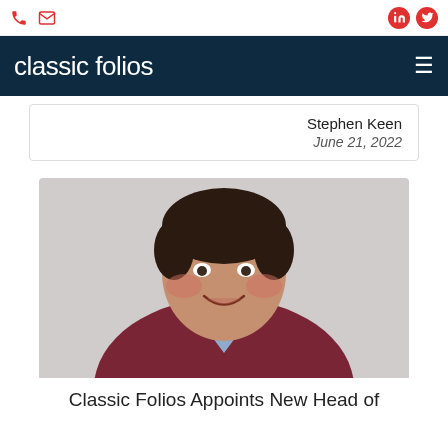Classic Folios — navigation bar with phone, email, LinkedIn, Twitter icons and logo
Stephen Keen
June 21, 2022
[Figure (photo): Headshot photo of a man wearing a dark red/maroon v-neck sweater over a light blue collared shirt, smiling at the camera against a light grey background.]
Classic Folios Appoints New Head of